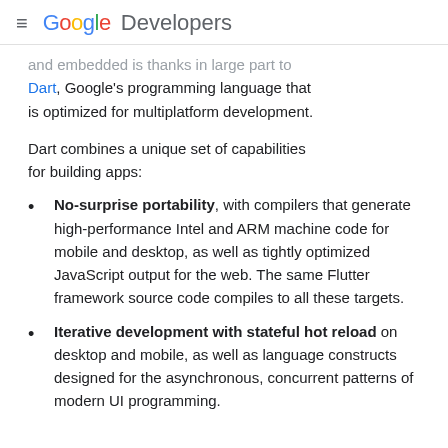≡ Google Developers
and embedded is thanks in large part to Dart, Google's programming language that is optimized for multiplatform development.
Dart combines a unique set of capabilities for building apps:
No-surprise portability, with compilers that generate high-performance Intel and ARM machine code for mobile and desktop, as well as tightly optimized JavaScript output for the web. The same Flutter framework source code compiles to all these targets.
Iterative development with stateful hot reload on desktop and mobile, as well as language constructs designed for the asynchronous, concurrent patterns of modern UI programming.